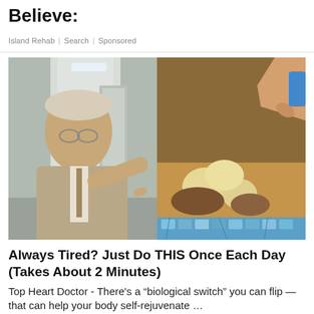Believe:
Island Rehab | Search | Sponsored
[Figure (photo): Composite advertisement image: on the left, an elderly man in a suit and glasses pointing at something in a hospital corridor setting; on the right, a close-up of hands interacting with round objects (possibly mushrooms or food) in a sandy/earthy container with a blue tiled edge.]
Always Tired? Just Do THIS Once Each Day (Takes About 2 Minutes)
Top Heart Doctor - There’s a “biological switch” you can flip — that can help your body self-rejuvenate …